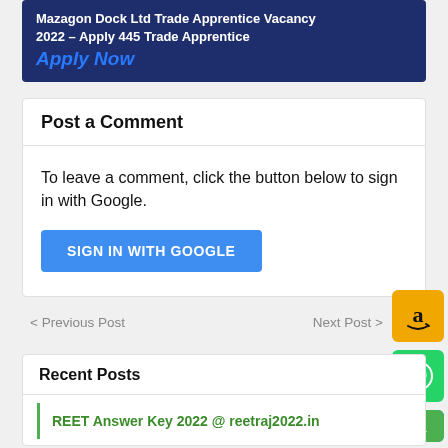[Figure (screenshot): Banner image showing text about Mazagon Dock Ltd Trade Apprentice Vacancy 2022 with Apply Now button]
Post a Comment
To leave a comment, click the button below to sign in with Google.
SIGN IN WITH GOOGLE
< Previous Post
Next Post >
[Figure (logo): Amazon floating button with orange background]
[Figure (logo): WhatsApp floating button with green background]
[Figure (logo): Telegram floating button with blue background]
[Figure (logo): Scroll to top button with green background]
Recent Posts
REET Answer Key 2022 @ reetraj2022.in